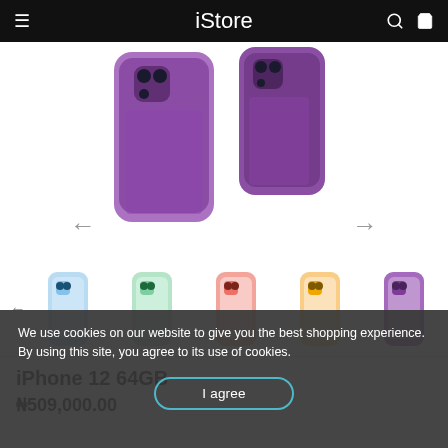iStore
[Figure (photo): Two purple iPhones shown partially from top: one larger (iPhone 12) and one smaller (iPhone 12 mini), both in purple color, with back cameras visible]
[Figure (photo): Thumbnail carousel row showing 5 iPhone 12 models in different colors: blue/white, green, pink/red, peach/orange, and purple. Left arrow navigation visible.]
We use cookies on our website to give you the best shopping experience. By using this site, you agree to its use of cookies.
iPhone 12 64GB
₦509,000.00